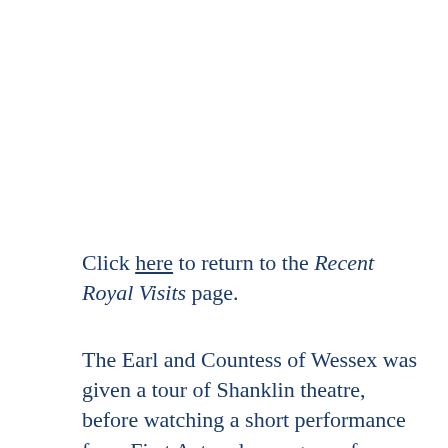Click here to return to the Recent Royal Visits page.
The Earl and Countess of Wessex was given a tour of Shanklin theatre, before watching a short performance from First Act, a drama group for people with disabilities. While at the theatre, the Earl of Wessex was presented with